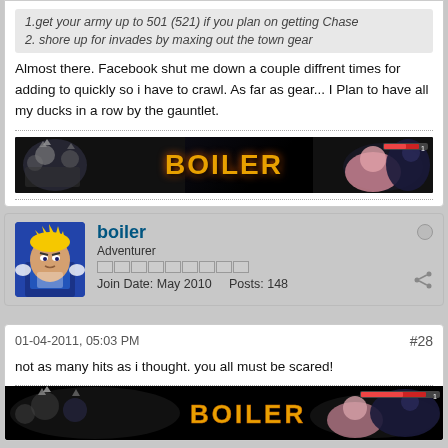1.get your army up to 501 (521) if you plan on getting Chase
2. shore up for invades by maxing out the town gear
Almost there. Facebook shut me down a couple diffrent times for adding to quickly so i have to crawl. As far as gear... I plan to have all my ducks in a row by the gauntlet.
[Figure (illustration): Forum signature banner with anime characters (Dragon Ball Z style) on left, text 'BOILER' in orange metallic letters in center, more anime characters on right, all on black background]
boiler
Adventurer
Join Date: May 2010    Posts: 148
01-04-2011, 05:03 PM
#28
not as many hits as i thought. you all must be scared!
[Figure (illustration): Forum signature banner with anime characters (Dragon Ball Z style) on left, text 'BOILER' in orange metallic letters in center, more anime characters on right, all on black background]